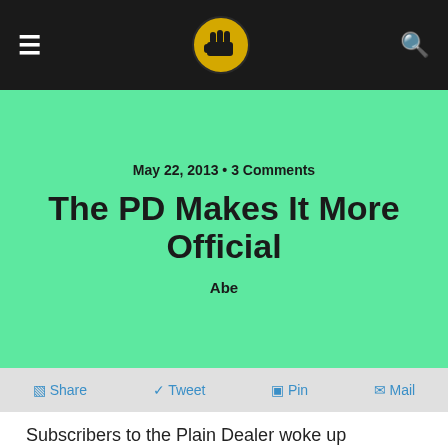≡  [logo]  🔍
May 22, 2013 • 3 Comments
The PD Makes It More Official
Abe
Share  Tweet  Pin  Mail
Subscribers to the Plain Dealer woke up Wednesday to the paper's official word on its new version of summer reading.  In a front-page Dear Readers column by  Robert Perona, the senior vice president of circulation, we were told  of the historic event scheduled for August 5 when the paper will shrink to a three-days-a-week